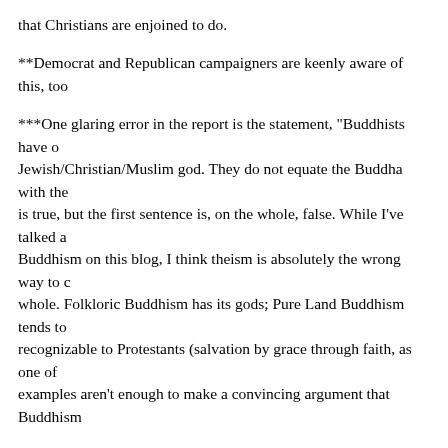that Christians are enjoined to do.
**Democrat and Republican campaigners are keenly aware of this, too
***One glaring error in the report is the statement, "Buddhists have o... Jewish/Christian/Muslim god. They do not equate the Buddha with the... is true, but the first sentence is, on the whole, false. While I've talked a... Buddhism on this blog, I think theism is absolutely the wrong way to c... whole. Folkloric Buddhism has its gods; Pure Land Buddhism tends to... recognizable to Protestants (salvation by grace through faith, as one of... examples aren't enough to make a convincing argument that Buddhism...
However, the other side of the coin is that many Buddhists, not attache... adopted some species of God-language in dialoguing with Christians a... thinker Abe Masao does this. Thien monk Thich Nhat Hanh regularly ... there are Zen teachers who are doubly men of the cloth, like Robert K... both of whom are ordained Catholic priests as well as Zen roshis, and ... commitment to their God-language.